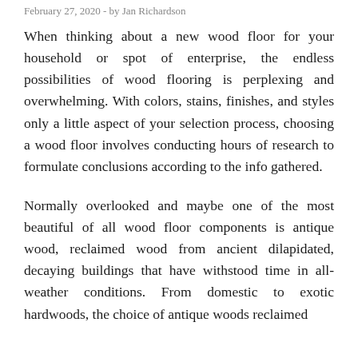February 27, 2020 - by Jan Richardson
When thinking about a new wood floor for your household or spot of enterprise, the endless possibilities of wood flooring is perplexing and overwhelming. With colors, stains, finishes, and styles only a little aspect of your selection process, choosing a wood floor involves conducting hours of research to formulate conclusions according to the info gathered.
Normally overlooked and maybe one of the most beautiful of all wood floor components is antique wood, reclaimed wood from ancient dilapidated, decaying buildings that have withstood time in all-weather conditions. From domestic to exotic hardwoods, the choice of antique woods reclaimed